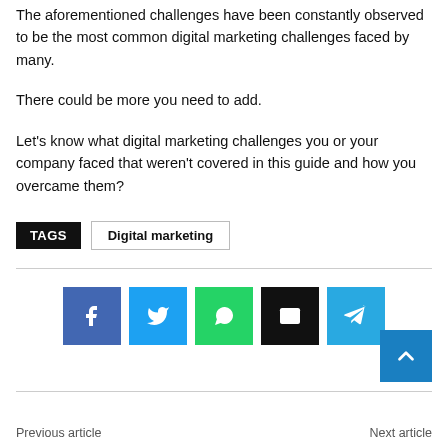The aforementioned challenges have been constantly observed to be the most common digital marketing challenges faced by many.
There could be more you need to add.
Let's know what digital marketing challenges you or your company faced that weren't covered in this guide and how you overcame them?
TAGS  Digital marketing
[Figure (other): Social sharing buttons: Facebook, Twitter, WhatsApp, Email, Telegram]
Previous article    Next article